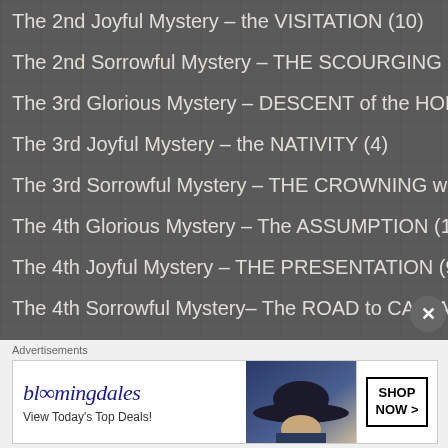The 2nd Joyful Mystery – the VISITATION (10)
The 2nd Sorrowful Mystery – THE SCOURGING (1)
The 3rd Glorious Mystery – DESCENT of the HOLY SPIRIT (17)
The 3rd Joyful Mystery – the NATIVITY (4)
The 3rd Sorrowful Mystery – THE CROWNING with THORNS (2)
The 4th Glorious Mystery – The ASSUMPTION (15)
The 4th Joyful Mystery – THE PRESENTATION (9)
The 4th Sorrowful Mystery– The ROAD to CALVARY (2)
The 5th Glorious Mystery – The CROWNING of the
Advertisements
[Figure (other): Bloomingdale's advertisement banner with text 'View Today's Top Deals!' and 'SHOP NOW >' button, featuring a woman in a wide-brimmed hat]